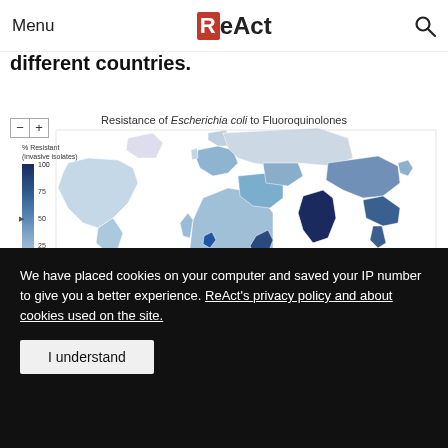Menu  ReAct  [search icon]
different countries.
[Figure (map): World map showing Resistance of Escherichia coli to Fluoroquinolones, with color gradient legend showing % Resistant (invasive isolates) from 0 to 100. Darkest areas include India and parts of Southeast Asia and Africa.]
ResistanceMap [5]
We have placed cookies on your computer and saved your IP number to give you a better experience. ReAct's privacy policy and about cookies used on the site.
Se